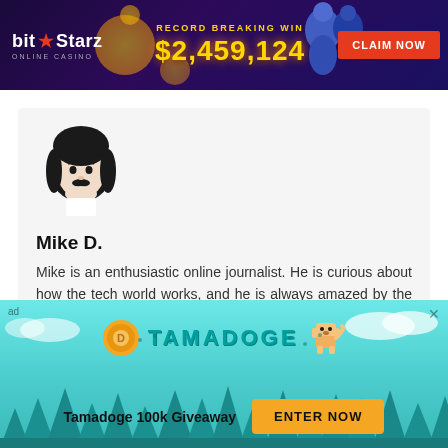[Figure (infographic): BitStarz Online Casino banner ad. Dark purple/blue gradient background. Left: 'bit★Starz ONLINE CASINO' logo. Center: 'RECORD BREAKING WIN' in gold, '$2,459,124' in large gold text. Right: cartoon genie characters and red 'CLAIM NOW' button.]
[Figure (illustration): Black and white cartoon avatar illustration of Mike D. — a person with dark curly hair and a small mustache, resembling a stylized portrait.]
Mike D.
Mike is an enthusiastic online journalist. He is curious about how the tech world works, and he is always amazed by the abrupt growth of blockchain technology.
[Figure (infographic): Tamadoge advertisement banner. Teal/cyan background with cartoon pine trees silhouette. Center top: Tamadoge coin logo, 'TAMADOGE' text in teal, cartoon dog pixel art. Bottom: 'Tamadoge 100k Giveaway' text and orange 'ENTER NOW' button. 'ad' label top-left, X close button top-right.]